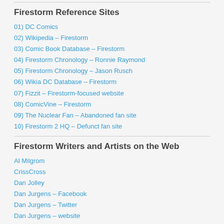Firestorm Reference Sites
01) DC Comics
02) Wikipedia – Firestorm
03) Comic Book Database – Firestorm
04) Firestorm Chronology – Ronnie Raymond
05) Firestorm Chronology – Jason Rusch
06) Wikia DC Database – Firestorm
07) Fizzit – Firestorm-focused website
08) ComicVine – Firestorm
09) The Nuclear Fan – Abandoned fan site
10) Firestorm 2 HQ – Defunct fan site
Firestorm Writers and Artists on the Web
Al Milgrom
CrissCross
Dan Jolley
Dan Jurgens – Facebook
Dan Jurgens – Twitter
Dan Jurgens – website
Dave Beaty